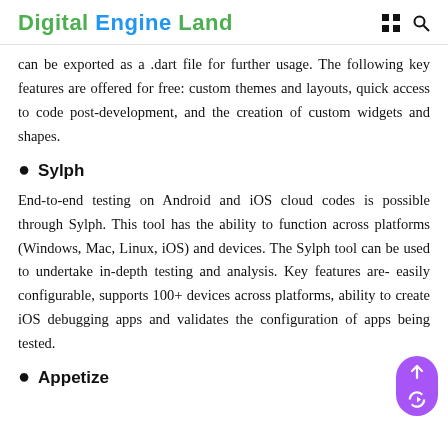Digital Engine Land
can be exported as a .dart file for further usage. The following key features are offered for free: custom themes and layouts, quick access to code post-development, and the creation of custom widgets and shapes.
Sylph
End-to-end testing on Android and iOS cloud codes is possible through Sylph. This tool has the ability to function across platforms (Windows, Mac, Linux, iOS) and devices. The Sylph tool can be used to undertake in-depth testing and analysis. Key features are- easily configurable, supports 100+ devices across platforms, ability to create iOS debugging apps and validates the configuration of apps being tested.
Appetize